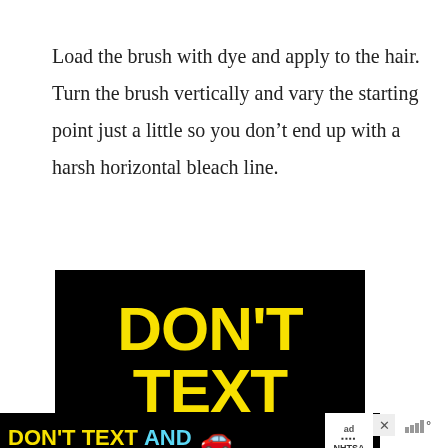Load the brush with dye and apply to the hair. Turn the brush vertically and vary the starting point just a little so you don't end up with a harsh horizontal bleach line.
[Figure (other): Advertisement banner showing 'DON'T TEXT' in large yellow letters on black background, with a secondary bar reading 'DON'T TEXT AND' with a car emoji, NHTSA branding, and ad close buttons.]